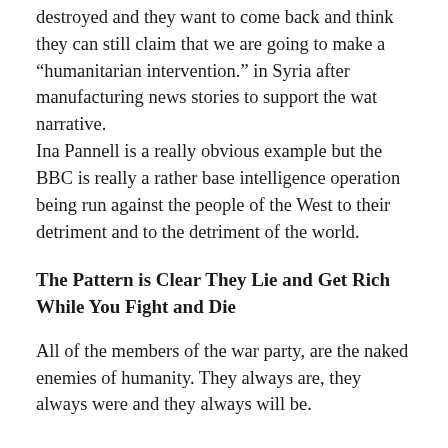destroyed and they want to come back and think they can still claim that we are going to make a “humanitarian intervention.” in Syria after manufacturing news stories to support the wat narrative. Ina Pannell is a really obvious example but the BBC is really a rather base intelligence operation being run against the people of the West to their detriment and to the detriment of the world.
The Pattern is Clear They Lie and Get Rich While You Fight and Die
All of the members of the war party, are the naked enemies of humanity. They always are, they always were and they always will be.